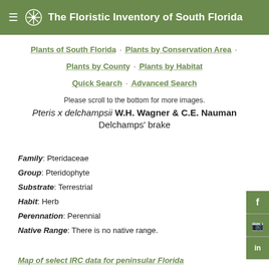The Floristic Inventory of South Florida
Plants of South Florida · Plants by Conservation Area · Plants by County · Plants by Habitat · Quick Search · Advanced Search
Please scroll to the bottom for more images.
Pteris x delchampsii W.H. Wagner & C.E. Nauman
Delchamps' brake
Family: Pteridaceae
Group: Pteridophyte
Substrate: Terrestrial
Habit: Herb
Perennation: Perennial
Native Range: There is no native range.
Map of select IRC data for peninsular Florida